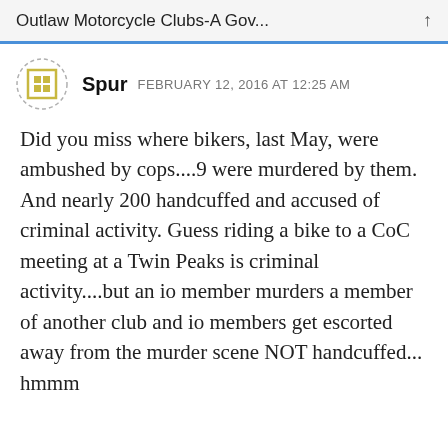Outlaw Motorcycle Clubs-A Gov...
Spur  FEBRUARY 12, 2016 AT 12:25 AM
Did you miss where bikers, last May, were ambushed by cops....9 were murdered by them. And nearly 200 handcuffed and accused of criminal activity. Guess riding a bike to a CoC meeting at a Twin Peaks is criminal activity....but an io member murders a member of another club and io members get escorted away from the murder scene NOT handcuffed... hmmm